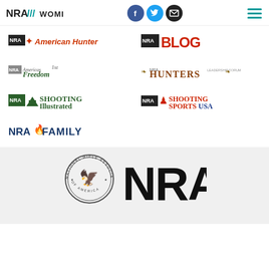[Figure (logo): NRA Women navigation header with logo, social media icons (Facebook, Twitter, Email), and hamburger menu]
[Figure (logo): NRA American Hunter logo - black NRA box with red deer icon and red italic text]
[Figure (logo): NRA Blog logo - black NRA box with large red BLOG text]
[Figure (logo): NRA America's 1st Freedom logo in green italic serif font]
[Figure (logo): NRA Hunters Leadership Forum logo with ornate styling]
[Figure (logo): NRA Shooting Illustrated logo with green mountain/rooftop icon]
[Figure (logo): NRA Shooting Sports USA logo with red and blue text]
[Figure (logo): NRA Family logo in dark blue with flame accent]
[Figure (logo): NRA National Rifle Association seal/emblem with eagle and NRA large text in bottom section]